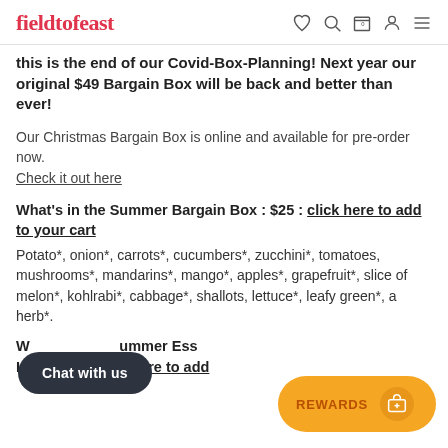fieldtofeast
this is the end of our Covid-Box-Planning! Next year our original $49 Bargain Box will be back and better than ever!
Our Christmas Bargain Box is online and available for pre-order now.
Check it out here
What's in the Summer Bargain Box : $25 : click here to add to your cart
Potato*, onion*, carrots*, cucumbers*, zucchini*, tomatoes, mushrooms*, mandarins*, mango*, apples*, grapefruit*, slice of melon*, kohlrabi*, cabbage*, shallots, lettuce*, leafy green*, a herb*.
What's in the Summer Essentials Low Carb : click here to add to your cart